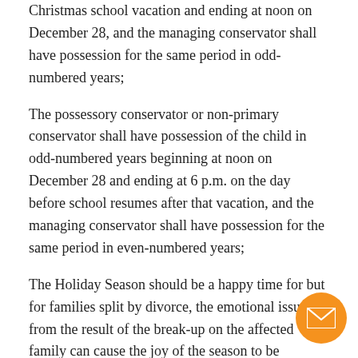Christmas school vacation and ending at noon on December 28, and the managing conservator shall have possession for the same period in odd-numbered years;
The possessory conservator or non-primary conservator shall have possession of the child in odd-numbered years beginning at noon on December 28 and ending at 6 p.m. on the day before school resumes after that vacation, and the managing conservator shall have possession for the same period in even-numbered years;
The Holiday Season should be a happy time for but for families split by divorce, the emotional issues from the result of the break-up on the affected family can cause the joy of the season to be overshadowed by unhappiness and despair!
Unfortunately, many parents, wait too long to confirm visitation plans for the upcoming holiday season, resulting in an
[Figure (illustration): Orange circular email contact button with white envelope icon]